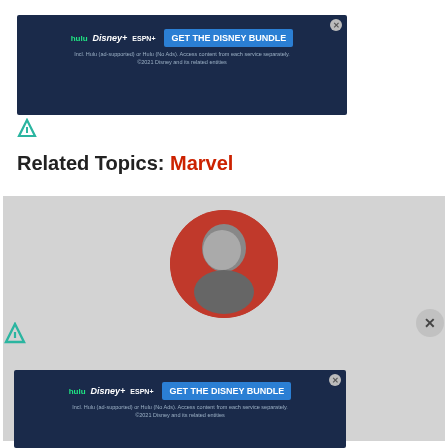[Figure (other): Disney Bundle advertisement banner with Hulu, Disney+, ESPN+ logos and blue button saying GET THE DISNEY BUNDLE]
[Figure (logo): Freestar ad icon (teal/green triangular logo)]
Related Topics: Marvel
[Figure (photo): Author profile card with gray background showing a circular red-bordered headshot of a man, with partial author name and description text at bottom]
[Figure (other): Disney Bundle advertisement banner (bottom overlay) with Hulu, Disney+, ESPN+ logos]